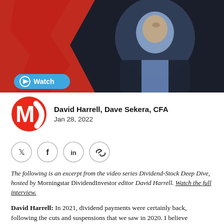[Figure (photo): Video thumbnail showing a man in a dark suit and blue shirt speaking, with a large red letter M logo in background. A blue 'Watch' button with play icon is overlaid at bottom left.]
David Harrell, Dave Sekera, CFA
Jan 28, 2022
[Figure (illustration): Four social sharing icons in circles: Twitter (bird), Facebook (f), LinkedIn (in), and link/chain icon]
The following is an excerpt from the video series Dividend-Stock Deep Dive, hosted by Morningstar DividendInvestor editor David Harrell. Watch the full interview.
David Harrell: In 2021, dividend payments were certainly back, following the cuts and suspensions that we saw in 2020. I believe according to Dow Jones, total dividends